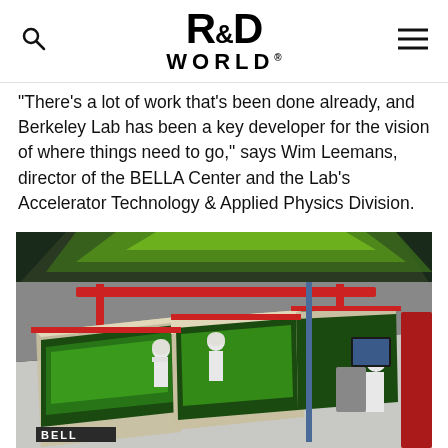R&D WORLD
"There's a lot of work that's been done already, and Berkeley Lab has been a key developer for the vision of where things need to go," says Wim Leemans, director of the BELLA Center and the Lab's Accelerator Technology & Applied Physics Division.
[Figure (photo): Scientists in white lab coats and hair nets working at the BELLA laser facility at Berkeley Lab. Large red and black laser equipment frames with green laser light visible. The BELLA label is visible on equipment in the foreground.]